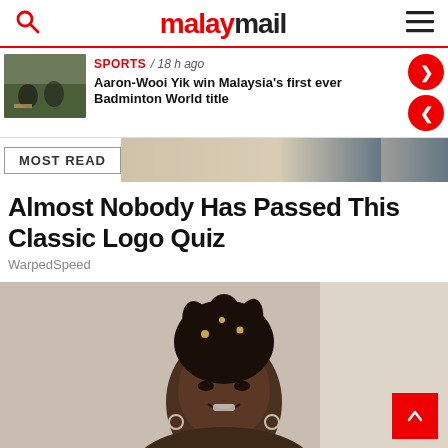malay mail
[Figure (photo): Thumbnail photo of badminton players on a court]
SPORTS / 18 h ago
Aaron-Wooi Yik win Malaysia's first ever Badminton World title
MOST READ
Almost Nobody Has Passed This Classic Logo Quiz
WarpedSpeed
[Figure (photo): Photo of a young woman with locs styled upward, smiling, wearing hoop earrings, against a light background]